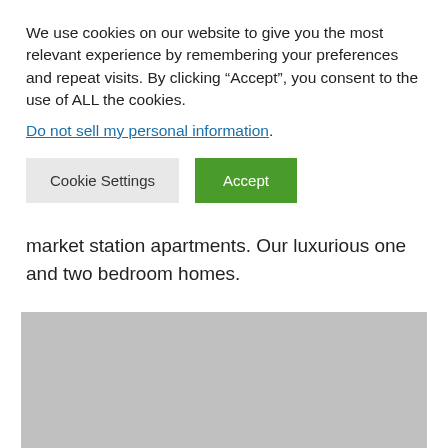We use cookies on our website to give you the most relevant experience by remembering your preferences and repeat visits. By clicking “Accept”, you consent to the use of ALL the cookies.
Do not sell my personal information.
Cookie Settings   Accept
market station apartments. Our luxurious one and two bedroom homes.
[Figure (photo): Gray placeholder image of an apartment exterior or interior]